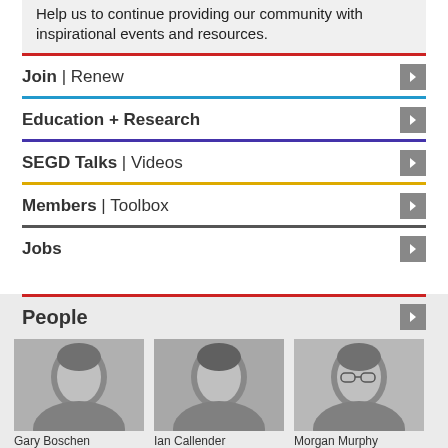Help us to continue providing our community with inspirational events and resources.
Join | Renew
Education + Research
SEGD Talks | Videos
Members | Toolbox
Jobs
People
[Figure (photo): Black and white headshot of Gary Boschen]
Gary Boschen
[Figure (photo): Black and white headshot of Ian Callender]
Ian Callender
[Figure (photo): Black and white headshot of Morgan Murphy]
Morgan Murphy